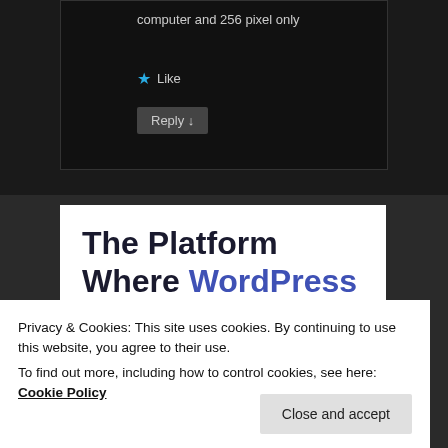computer and 256 pixel only
★ Like
Reply ↓
The Platform Where WordPress Works Best
Privacy & Cookies: This site uses cookies. By continuing to use this website, you agree to their use.
To find out more, including how to control cookies, see here: Cookie Policy
Close and accept